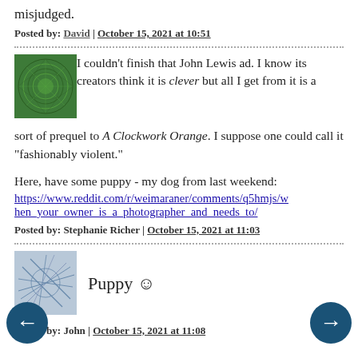misjudged.
Posted by: David | October 15, 2021 at 10:51
[Figure (illustration): Green circular patterned avatar icon]
I couldn't finish that John Lewis ad. I know its creators think it is clever but all I get from it is a sort of prequel to A Clockwork Orange. I suppose one could call it "fashionably violent."
Here, have some puppy - my dog from last weekend:
https://www.reddit.com/r/weimaraner/comments/q5hmjs/when_your_owner_is_a_photographer_and_needs_to/
Posted by: Stephanie Richer | October 15, 2021 at 11:03
[Figure (illustration): Gray scribble/abstract line pattern avatar icon]
Puppy ☺
Posted by: John | October 15, 2021 at 11:08